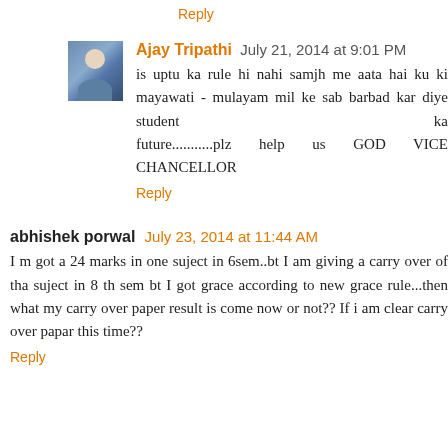Reply
Ajay Tripathi July 21, 2014 at 9:01 PM
is uptu ka rule hi nahi samjh me aata hai ku ki mayawati - mulayam mil ke sab barbad kar diye student ka future...........plz help us GOD VICE CHANCELLOR
Reply
abhishek porwal July 23, 2014 at 11:44 AM
I m got a 24 marks in one suject in 6sem..bt I am giving a carry over of tha suject in 8 th sem bt I got grace according to new grace rule...then what my carry over paper result is come now or not?? If i am clear carry over papar this time??
Reply